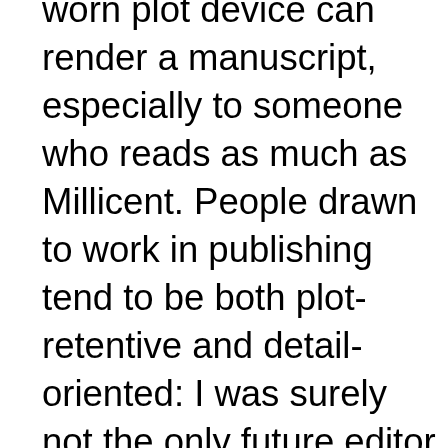worn plot device can render a manuscript, especially to someone who reads as much as Millicent. People drawn to work in publishing tend to be both plot-retentive and detail-oriented: I was surely not the only future editor who walked out of the original STAR WARS saying to her big brother, “You know what would make more sense than that ending? If Leah was Luke’s sister? I mean, honestly — why begin their names with the same first letter, something screenwriters usually take wincing pains to avoid, unless we’re supposed to guess that there’s a familial